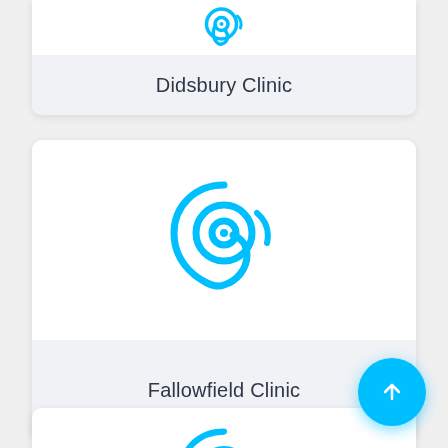[Figure (illustration): Hearing aid / ear icon in cyan blue, partially visible at top of card for Didsbury Clinic]
Didsbury Clinic
[Figure (illustration): Hearing aid / ear icon in cyan blue, full icon visible for Fallowfield Clinic card]
Fallowfield Clinic
[Figure (illustration): Hearing aid / ear icon in cyan blue, partially visible at bottom of page for next clinic card]
[Figure (other): Cyan blue circular FAB button with upward arrow icon]